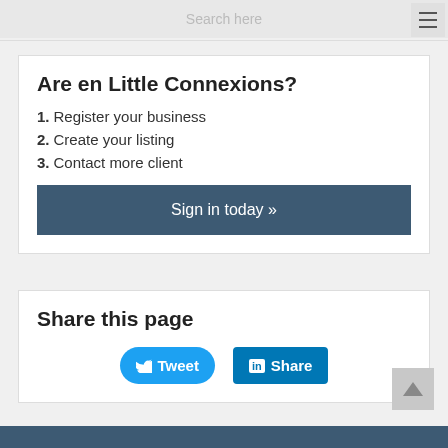Search here
Are en Little Connexions?
1. Register your business
2. Create your listing
3. Contact more client
Sign in today »
Share this page
Tweet
Share